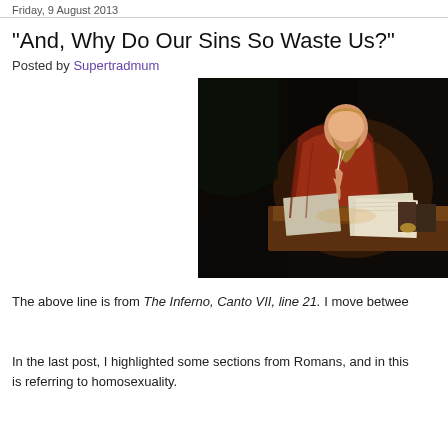Friday, 9 August 2013
"And, Why Do Our Sins So Waste Us?"
Posted by Supertradmum
[Figure (photo): Classical painting of a bearded man in red robes writing by candlelight at a desk covered with papers and books, dark background.]
The above line is from The Inferno, Canto VII, line 21. I move betwee...
In the last post, I highlighted some sections from Romans, and in this is referring to homosexuality.